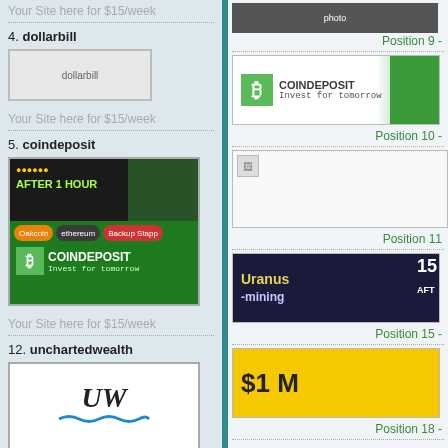Your Site here for $15/week
4. dollarbill
[Figure (screenshot): dollarbill banner image]
Your Site here for $15/week
5. coindeposit
[Figure (screenshot): CoinDeposit - Invest for tomorrow banner with green Bitcoin logo, face graphic, and colored buttons]
Your Site here for $15/week
12. unchartedwealth
[Figure (logo): UW unchartedwealth logo with stylized letters]
Position 9 -
[Figure (screenshot): COINDEPOSIT - Invest for tomorrow banner, white and green]
Position 10 -
[Figure (screenshot): Broken/loading image placeholder]
Position 11
[Figure (screenshot): Uranus Mining banner - dark blue background with yellow text, 15 after]
Position 15 -
[Figure (screenshot): $1M banner - yellow background with dark text]
Position 18 -